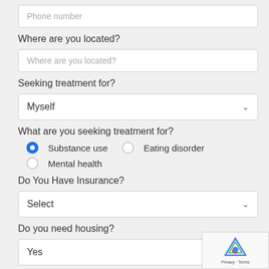Phone number
Where are you located?
Where are you located?
Seeking treatment for?
Myself
What are you seeking treatment for?
Substance use (selected)
Eating disorder
Mental health
Do You Have Insurance?
Select
Do you need housing?
Yes